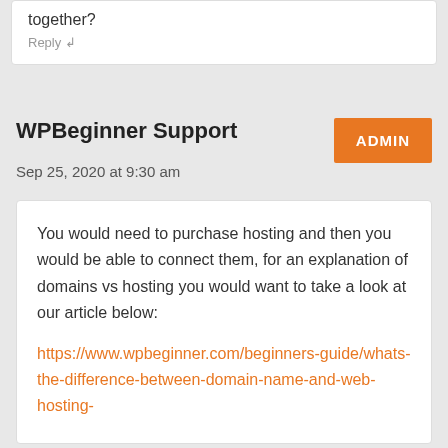together?
Reply ↲
WPBeginner Support
ADMIN
Sep 25, 2020 at 9:30 am
You would need to purchase hosting and then you would be able to connect them, for an explanation of domains vs hosting you would want to take a look at our article below:
https://www.wpbeginner.com/beginners-guide/whats-the-difference-between-domain-name-and-web-hosting-